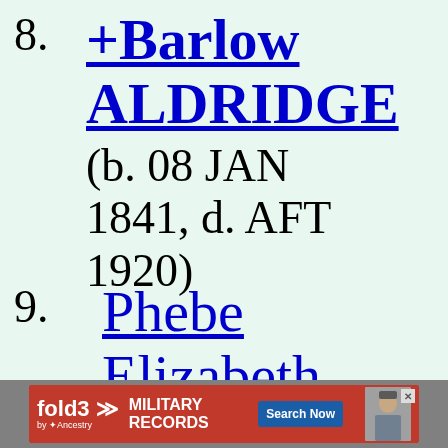8. +Barlow ALDRIDGE (b. 08 JAN 1841, d. AFT 1920)
9. Phebe Elizabeth
[Figure (other): Advertisement banner for fold3 by Ancestry – Military Records, Search Now button, photo of soldier]